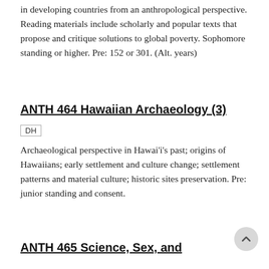in developing countries from an anthropological perspective. Reading materials include scholarly and popular texts that propose and critique solutions to global poverty. Sophomore standing or higher. Pre: 152 or 301. (Alt. years)
ANTH 464 Hawaiian Archaeology (3)
DH
Archaeological perspective in Hawai'i's past; origins of Hawaiians; early settlement and culture change; settlement patterns and material culture; historic sites preservation. Pre: junior standing and consent.
ANTH 465 Science, Sex, and